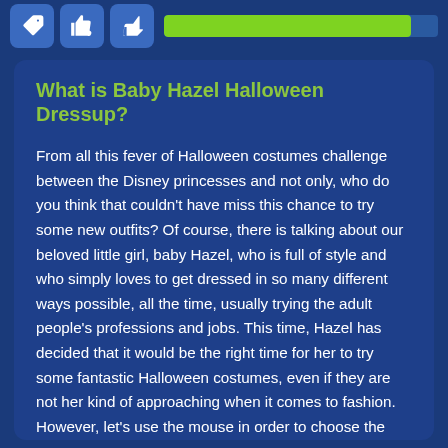[Figure (other): Top bar with three icon buttons (wrench/tool, thumbs up, thumbs down) and a green progress bar]
What is Baby Hazel Halloween Dressup?
From all this fever of Halloween costumes challenge between the Disney princesses and not only, who do you think that couldn't have miss this chance to try some new outfits? Of course, there is talking about our beloved little girl, baby Hazel, who is full of style and who simply loves to get dressed in so many different ways possible, all the time, usually trying the adult people's professions and jobs. This time, Hazel has decided that it would be the right time for her to try some fantastic Halloween costumes, even if they are not her kind of approaching when it comes to fashion. However, let's use the mouse in order to choose the right outfits from the categories in the right side of the game screen. Under the clothes, there will be a button which will allow you to switch her hairstyle and hair's colour so let's get to the work right now and start this dress up mission as soon as it is possible, being inspired and so creative. Make baby Hazel look